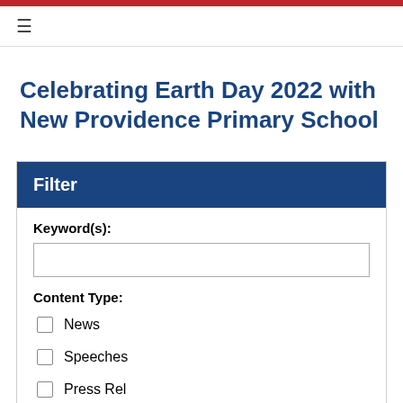≡
Celebrating Earth Day 2022 with New Providence Primary School
Filter
Keyword(s):
Content Type:
News
Speeches
Press Rel...